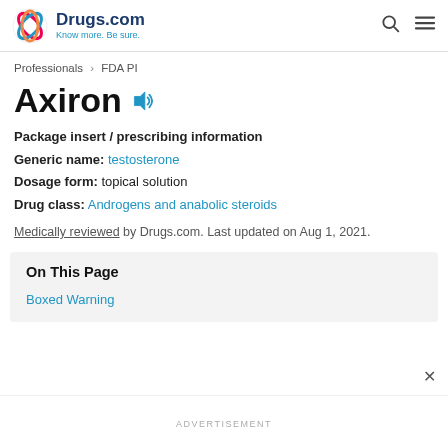Drugs.com | Know more. Be sure.
Professionals > FDA PI
Axiron
Package insert / prescribing information
Generic name: testosterone
Dosage form: topical solution
Drug class: Androgens and anabolic steroids
Medically reviewed by Drugs.com. Last updated on Aug 1, 2021.
On This Page
Boxed Warning
ADVERTISEMENT